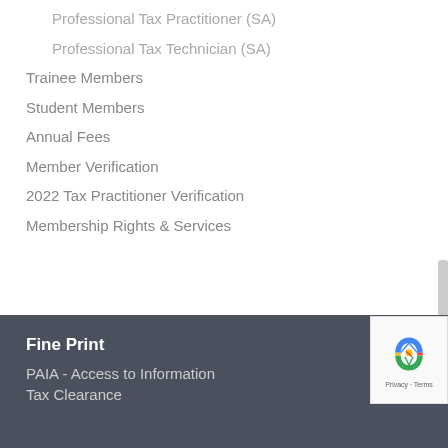Professional Tax Practitioner (SA)
Professional Tax Technician (SA)
Trainee Members
Student Members
Annual Fees
Member Verification
2022 Tax Practitioner Verification
Membership Rights & Services
Fine Print
PAIA - Access to Information
Tax Clearance